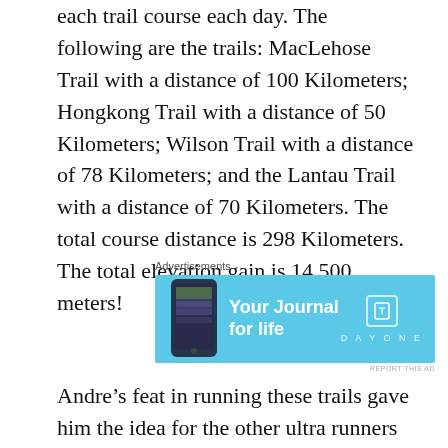each trail course each day. The following are the trails: MacLehose Trail with a distance of 100 Kilometers; Hongkong Trail with a distance of 50 Kilometers; Wilson Trail with a distance of 78 Kilometers; and the Lantau Trail with a distance of 70 Kilometers. The total course distance is 298 Kilometers. The total elevation gain is 14,500 meters!
[Figure (other): Advertisement banner for Day One app with cyan/blue background showing a phone, text 'Your Journal for life', and the Day One logo.]
Andre’s feat in running these trails gave him the idea for the other ultra runners to experience the challenge, thus, the birth of the HK4TUC. To make the event more challenging and exciting, he imposed a cut-off time of